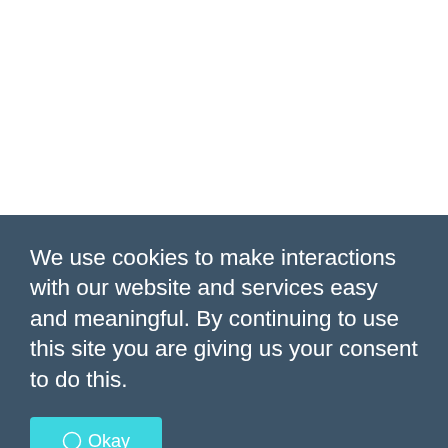We use cookies to make interactions with our website and services easy and meaningful. By continuing to use this site you are giving us your consent to do this.
Okay